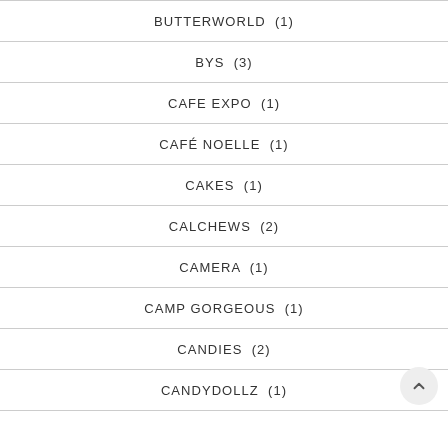BUTTERWORLD (1)
BYS (3)
CAFE EXPO (1)
CAFÉ NOELLE (1)
CAKES (1)
CALCHEWS (2)
CAMERA (1)
CAMP GORGEOUS (1)
CANDIES (2)
CANDYDOLLZ (1)